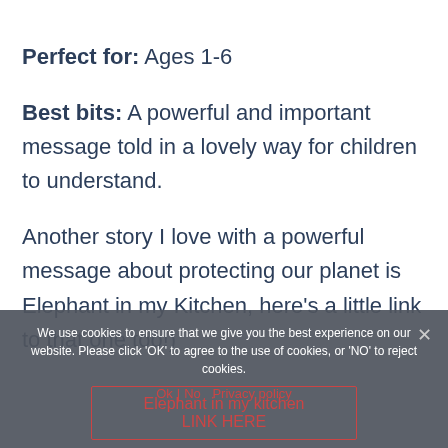Perfect for: Ages 1-6
Best bits: A powerful and important message told in a lovely way for children to understand.
Another story I love with a powerful message about protecting our planet is Elephant in my Kitchen, here's a little link to that one too!)
We use cookies to ensure that we give you the best experience on our website. Please click 'OK' to agree to the use of cookies, or 'NO' to reject cookies.
Ok | No  Privacy policy
Elephant in my kitchen LINK HERE